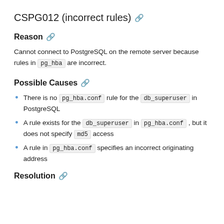CSPG012 (incorrect rules)
Reason
Cannot connect to PostgreSQL on the remote server because rules in pg_hba are incorrect.
Possible Causes
There is no pg_hba.conf rule for the db_superuser in PostgreSQL
A rule exists for the db_superuser in pg_hba.conf, but it does not specify md5 access
A rule in pg_hba.conf specifies an incorrect originating address
Resolution